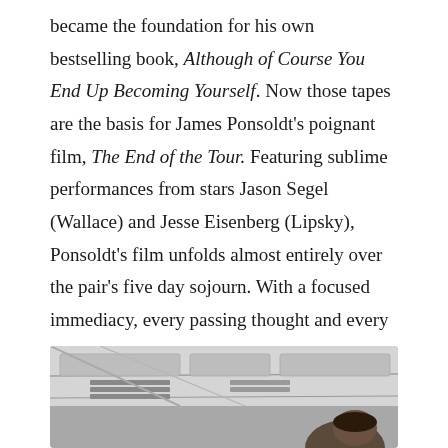became the foundation for his own bestselling book, Although of Course You End Up Becoming Yourself. Now those tapes are the basis for James Ponsoldt's poignant film, The End of the Tour. Featuring sublime performances from stars Jason Segel (Wallace) and Jesse Eisenberg (Lipsky), Ponsoldt's film unfolds almost entirely over the pair's five day sojourn. With a focused immediacy, every passing thought and every passing moment carries an unexpected weight. Eschewing the formulaic trappings of biopics, The End of the Tour takes a surprisingly objective look at one of literature's great enigmas that's as rewarding emotionally as it is challenging intellectually.
[Figure (photo): Bottom portion of a photo showing what appears to be the interior of an aircraft or vehicle, with overhead panels and a person partially visible at bottom right.]